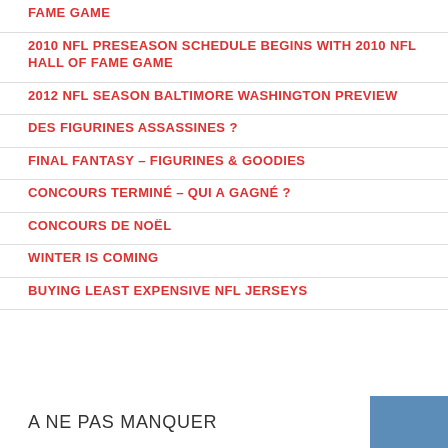FAME GAME
2010 NFL PRESEASON SCHEDULE BEGINS WITH 2010 NFL HALL OF FAME GAME
2012 NFL SEASON BALTIMORE WASHINGTON PREVIEW
DES FIGURINES ASSASSINES ?
FINAL FANTASY – FIGURINES & GOODIES
CONCOURS TERMINÉ – QUI A GAGNÉ ?
CONCOURS DE NOËL
WINTER IS COMING
BUYING LEAST EXPENSIVE NFL JERSEYS
A NE PAS MANQUER